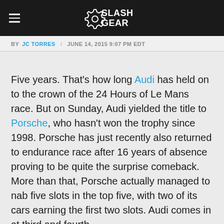SlashGear
BY JC TORRES / JUNE 14, 2015 9:07 PM EDT
Five years. That's how long Audi has held on to the crown of the 24 Hours of Le Mans race. But on Sunday, Audi yielded the title to Porsche, who hasn't won the trophy since 1998. Porsche has just recently also returned to endurance race after 16 years of absence proving to be quite the surprise comeback. More than that, Porsche actually managed to nab five slots in the top five, with two of its cars earning the first two slots. Audi comes in at third and fourth.